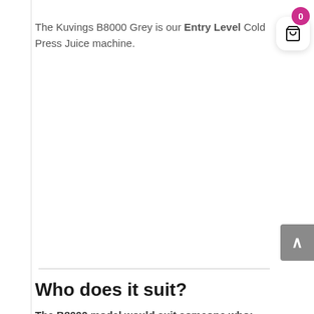The Kuvings B8000 Grey is our Entry Level Cold Press Juice machine.
Who does it suit?
The B8000 model would suit someone who:
Has a limited budget
Happy to cut the fruits and vegetables into...